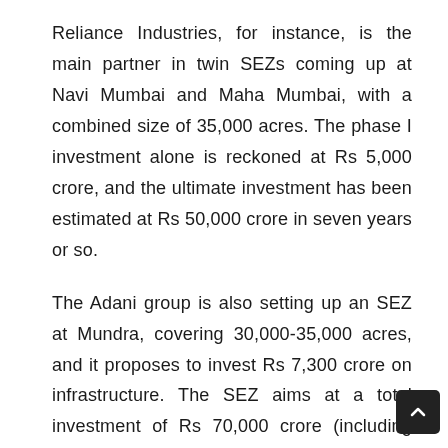Reliance Industries, for instance, is the main partner in twin SEZs coming up at Navi Mumbai and Maha Mumbai, with a combined size of 35,000 acres. The phase I investment alone is reckoned at Rs 5,000 crore, and the ultimate investment has been estimated at Rs 50,000 crore in seven years or so.
The Adani group is also setting up an SEZ at Mundra, covering 30,000-35,000 acres, and it proposes to invest Rs 7,300 crore on infrastructure. The SEZ aims at a total investment of Rs 70,000 crore (including that by export units) over ten years.